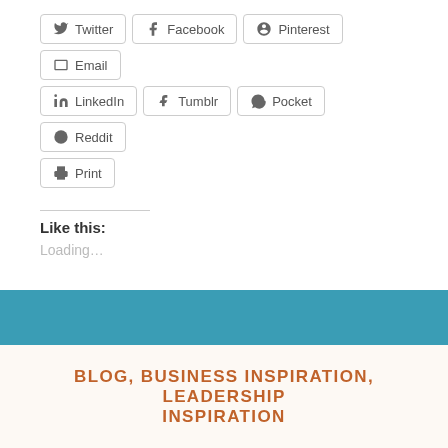Twitter
Facebook
Pinterest
Email
LinkedIn
Tumblr
Pocket
Reddit
Print
Like this:
Loading...
BLOG, BUSINESS INSPIRATION, LEADERSHIP INSPIRATION